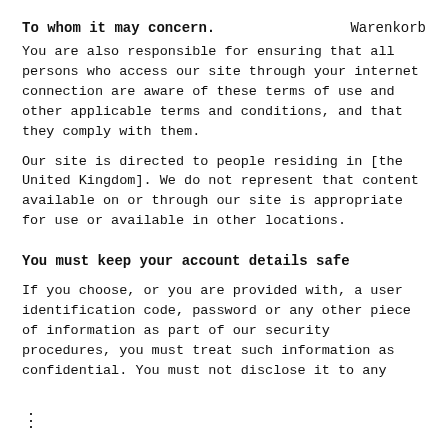To whom it may concern.    Warenkorb
You are also responsible for ensuring that all persons who access our site through your internet connection are aware of these terms of use and other applicable terms and conditions, and that they comply with them.
Our site is directed to people residing in [the United Kingdom]. We do not represent that content available on or through our site is appropriate for use or available in other locations.
You must keep your account details safe
If you choose, or you are provided with, a user identification code, password or any other piece of information as part of our security procedures, you must treat such information as confidential. You must not disclose it to any
⋮